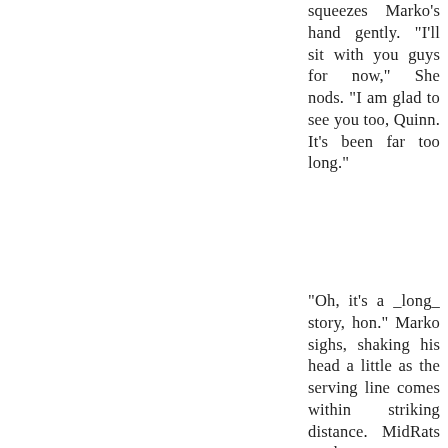squeezes Marko's hand gently. "I'll sit with you guys for now," She nods. "I am glad to see you too, Quinn. It's been far too long."
"Oh, it's a _long_ story, hon." Marko sighs, shaking his head a little as the serving line comes within striking distance. MidRats on the